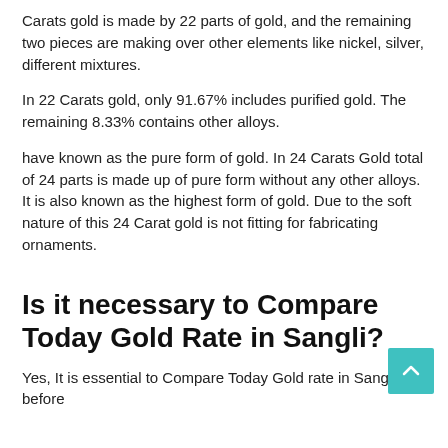Carats gold is made by 22 parts of gold, and the remaining two pieces are making over other elements like nickel, silver, different mixtures.
In 22 Carats gold, only 91.67% includes purified gold. The remaining 8.33% contains other alloys.
have known as the pure form of gold. In 24 Carats Gold total of 24 parts is made up of pure form without any other alloys.
It is also known as the highest form of gold. Due to the soft nature of this 24 Carat gold is not fitting for fabricating ornaments.
Is it necessary to Compare Today Gold Rate in Sangli?
Yes, It is essential to Compare Today Gold rate in Sangli that before